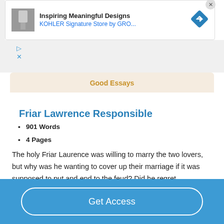[Figure (screenshot): Advertisement banner: thumbnail image on left, text 'Inspiring Meaningful Designs / KOHLER Signature Store by GRO...' in center, blue diamond navigation icon on right, close button top-right]
Good Essays
Friar Lawrence Responsible
901 Words
4 Pages
The holy Friar Laurence was willing to marry the two lovers, but why was he wanting to cover up their marriage if it was supposed to put and end to the feud? Did he regret
Get Access